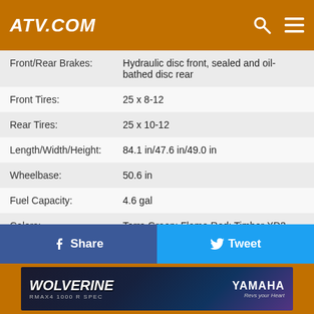ATV.COM
| Specification | Value |
| --- | --- |
| Front/Rear Brakes: | Hydraulic disc front, sealed and oil-bathed disc rear |
| Front Tires: | 25 x 8-12 |
| Rear Tires: | 25 x 10-12 |
| Length/Width/Height: | 84.1 in/47.6 in/49.0 in |
| Wheelbase: | 50.6 in |
| Fuel Capacity: | 4.6 gal |
| Colors: | Terra Green; Flame Red; Timber XD3 Camouflage |
| Curb Weight: | 676 pounds |
| MSRP: | $7,399 (base); $8,299 (power steering) |
[Figure (screenshot): Social share bar with Facebook Share and Twitter Tweet buttons, and a Yamaha Wolverine RMAX4 1000 R SPEC advertisement banner at the bottom]